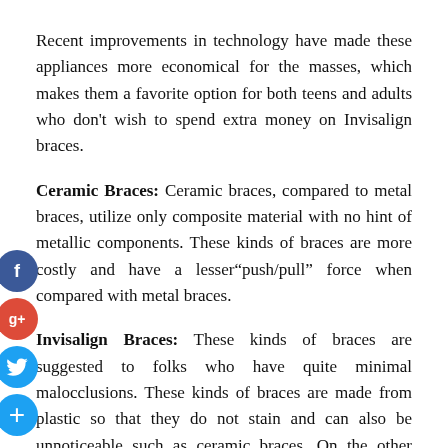Recent improvements in technology have made these appliances more economical for the masses, which makes them a favorite option for both teens and adults who don't wish to spend extra money on Invisalign braces.
Ceramic Braces: Ceramic braces, compared to metal braces, utilize only composite material with no hint of metallic components. These kinds of braces are more costly and have a lesser"push/pull" force when compared with metal braces.
Invisalign Braces: These kinds of braces are suggested to folks who have quite minimal malocclusions. These kinds of braces are made from plastic so that they do not stain and can also be unnoticeable such as ceramic braces. On the other hand, the purchase price of all